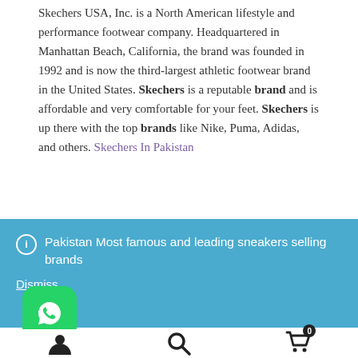Skechers USA, Inc. is a North American lifestyle and performance footwear company. Headquartered in Manhattan Beach, California, the brand was founded in 1992 and is now the third-largest athletic footwear brand in the United States. Skechers is a reputable brand and is affordable and very comfortable for your feet. Skechers is up there with the top brands like Nike, Puma, Adidas, and others. Skechers In Pakistan
Pakistan Most famous and leading sneakers selling brands
Dismiss
[Figure (other): WhatsApp chat button icon (green rounded square with white phone handset logo), user account icon, search magnifying glass icon, shopping cart icon with badge showing 0]